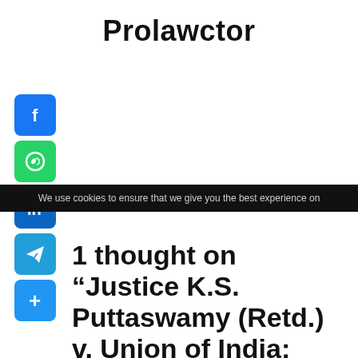Prolawctor
[Figure (infographic): Social share buttons: Facebook (blue), WhatsApp (green), LinkedIn (blue), Telegram (light blue), Plus/More (blue)]
1 thought on “Justice K.S. Puttaswamy (Retd.) v. Union of India: Case
We use cookies to ensure that we give you the best experience on